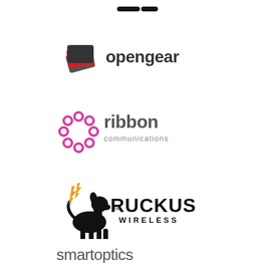[Figure (logo): Partial logo at top of page (cut off), black text/symbol]
[Figure (logo): Opengear logo: stacked card icon in grey/red with 'opengear' text in dark grey]
[Figure (logo): Ribbon Communications logo: circular chain of magenta/pink dots with 'ribbon communications' text]
[Figure (logo): Ruckus Wireless logo: dog mascot with lightning bolts and 'RUCKUS WIRELESS' text in black]
[Figure (logo): smartoptics logo: lowercase grey text 'smartoptics']